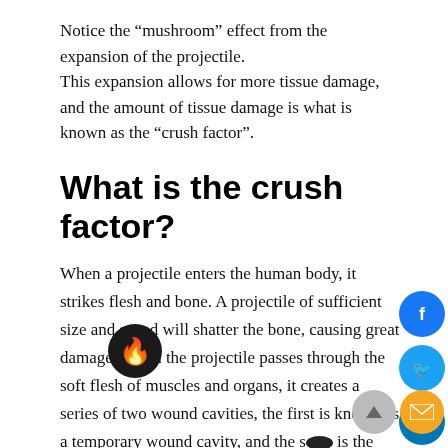Notice the “mushroom” effect from the expansion of the projectile.
This expansion allows for more tissue damage, and the amount of tissue damage is what is known as the “crush factor”.
What is the crush factor?
When a projectile enters the human body, it strikes flesh and bone. A projectile of sufficient size and speed will shatter the bone, causing great damage. When the projectile passes through the soft flesh of muscles and organs, it creates a series of two wound cavities, the first is known as a temporary wound cavity, and the s… is the permanent wound cavity. The permanent wound cavity is caused by the destruction of tissue. The amount of destroyed tissue is the crush factor of wound…